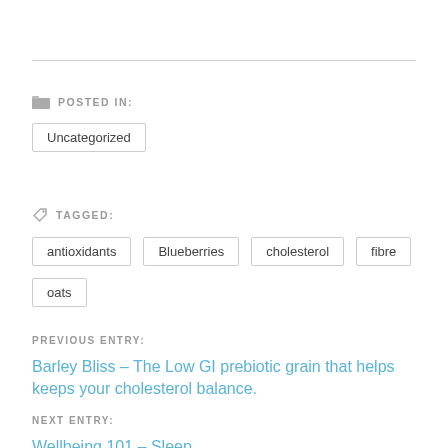POSTED IN:
Uncategorized
TAGGED:
antioxidants
Blueberries
cholesterol
fibre
oats
PREVIOUS ENTRY:
Barley Bliss – The Low GI prebiotic grain that helps keeps your cholesterol balance.
NEXT ENTRY:
Wellbeing 101 – Sleep